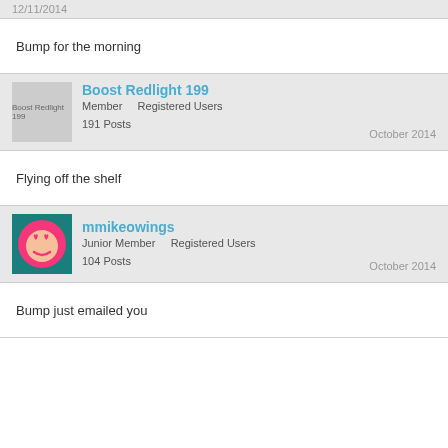Bump for the morning
Boost Redlight 199 | Member | Registered Users | 191 Posts | October 2014
Flying off the shelf
mmikeowings | Junior Member | Registered Users | 104 Posts | October 2014
Bump just emailed you